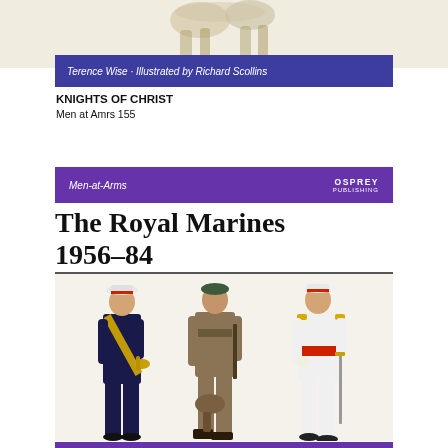[Figure (illustration): Partial view of a medieval knight illustration at the top of the page, showing legs/feet of figures on a light beige background]
Terence Wise · Illustrated by Richard Scollins
KNIGHTS OF CHRIST
Men at Amrs 155
Men-at-Arms
OSPREY PUBLISHING
The Royal Marines 1956–84
[Figure (illustration): Three Royal Marines soldiers illustrated in color: left figure in dark dress uniform with gold sash and white peaked cap; center figure in khaki combat uniform with green beret carrying equipment; right figure in white tropical uniform with red sash and white peaked cap carrying sword]